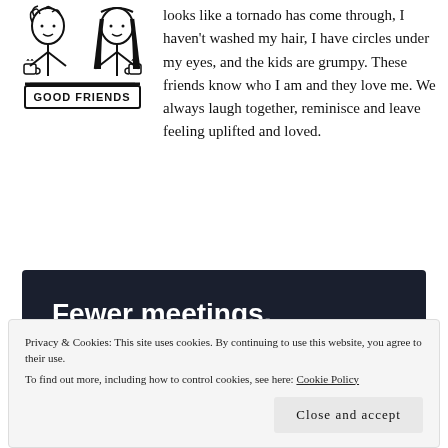looks like a tornado has come through, I haven't washed my hair, I have circles under my eyes, and the kids are grumpy. These friends know who I am and they love me. We always laugh together, reminisce and leave feeling uplifted and loved.
[Figure (illustration): Black and white line drawing of two people sitting across from each other sharing coffee/tea cups, with text 'GOOD FRIENDS' at the bottom]
[Figure (screenshot): Dark advertisement banner reading 'Fewer meetings, more work.' with a 'Get started for free' button]
Privacy & Cookies: This site uses cookies. By continuing to use this website, you agree to their use.
To find out more, including how to control cookies, see here: Cookie Policy
Close and accept